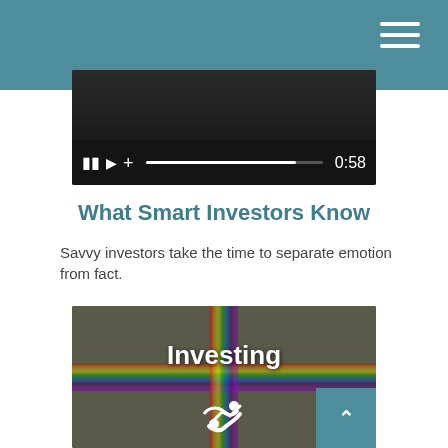[Figure (screenshot): Video player showing a video at 0:58 with pause, play, and progress bar controls on a dark background]
What Smart Investors Know
Savvy investors take the time to separate emotion from fact.
[Figure (photo): Aerial view of a street intersection with rainbow-painted crosswalk, overlaid with the word 'Investing' and a handshake icon]